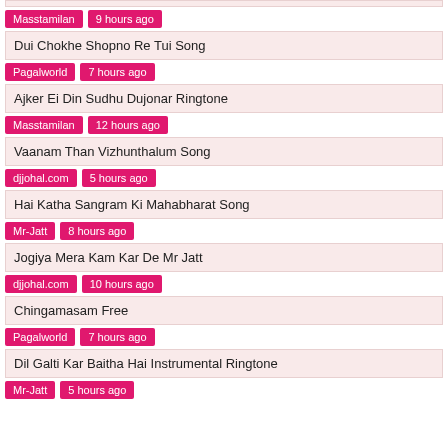Masstamilan | 9 hours ago
Dui Chokhe Shopno Re Tui Song
Pagalworld | 7 hours ago
Ajker Ei Din Sudhu Dujonar Ringtone
Masstamilan | 12 hours ago
Vaanam Than Vizhunthalum Song
djjohal.com | 5 hours ago
Hai Katha Sangram Ki Mahabharat Song
Mr-Jatt | 8 hours ago
Jogiya Mera Kam Kar De Mr Jatt
djjohal.com | 10 hours ago
Chingamasam Free
Pagalworld | 7 hours ago
Dil Galti Kar Baitha Hai Instrumental Ringtone
Mr-Jatt | ...